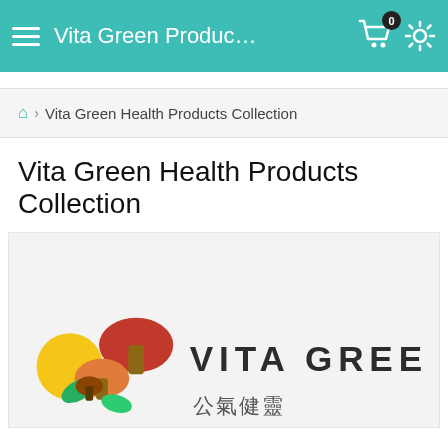≡ Vita Green Produc…
🏠 > Vita Green Health Products Collection
Vita Green Health Products Collection
[Figure (logo): Vita Green Health Products logo with colorful mushroom/plant illustration and Chinese characters]